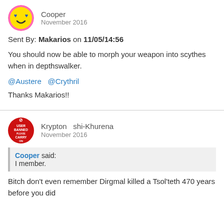Cooper
November 2016
Sent By: Makarios on 11/05/14:56
You should now be able to morph your weapon into scythes when in depthswalker.
@Austere  @Crythril
Thanks Makarios!!
Krypton  shi-Khurena
November 2016
Cooper said:
I member.
Bitch don't even remember Dirgmal killed a Tsol'teth 470 years before you did